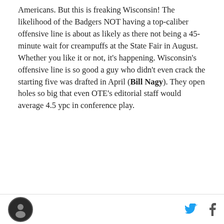Americans. But this is freaking Wisconsin! The likelihood of the Badgers NOT having a top-caliber offensive line is about as likely as there not being a 45-minute wait for creampuffs at the State Fair in August. Whether you like it or not, it's happening. Wisconsin's offensive line is so good a guy who didn't even crack the starting five was drafted in April (Bill Nagy). They open holes so big that even OTE's editorial staff would average 4.5 ypc in conference play.
[logo] [twitter] [facebook]